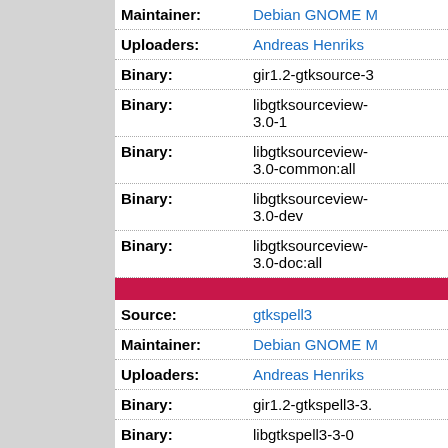| Field | Value |
| --- | --- |
| Maintainer: | Debian GNOME M... |
| Uploaders: | Andreas Henriks... |
| Binary: | gir1.2-gtksource-3... |
| Binary: | libgtksourceview-3.0-1 |
| Binary: | libgtksourceview-3.0-common:all |
| Binary: | libgtksourceview-3.0-dev |
| Binary: | libgtksourceview-3.0-doc:all |
| Field | Value |
| --- | --- |
| Source: | gtkspell3 |
| Maintainer: | Debian GNOME M... |
| Uploaders: | Andreas Henriks... |
| Binary: | gir1.2-gtkspell3-3... |
| Binary: | libgtkspell3-3-0 |